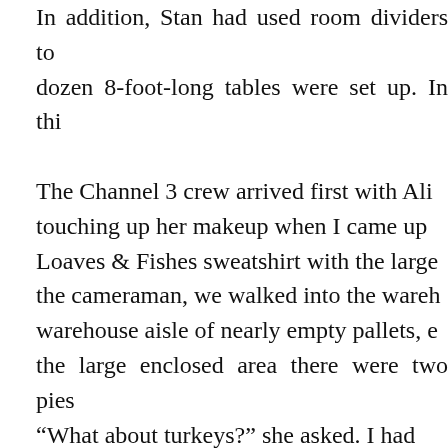In addition, Stan had used room dividers to dozen 8-foot-long tables were set up. In thi The Channel 3 crew arrived first with Ali touching up her makeup when I came up Loaves & Fishes sweatshirt with the large the cameraman, we walked into the wareh warehouse aisle of nearly empty pallets, e the large enclosed area there were two pies “What about turkeys?” she asked. I had donation food appeal asked for turkeys, co before our dinner. I took her to a large free door, and looked in; there were six turkeys 2,000 people next Tuesday, our cupboards Sacramento will once again work the mira for almost 30 minutes, and then it was t opened the freezer door, took out a turkey, Fishes does not have enough turkeys for its